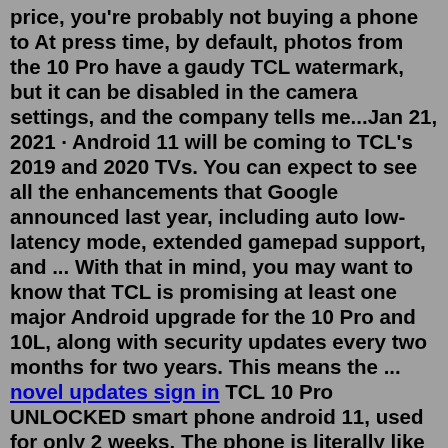price, you're probably not buying a phone to At press time, by default, photos from the 10 Pro have a gaudy TCL watermark, but it can be disabled in the camera settings, and the company tells me...Jan 21, 2021 · Android 11 will be coming to TCL's 2019 and 2020 TVs. You can expect to see all the enhancements that Google announced last year, including auto low-latency mode, extended gamepad support, and ... With that in mind, you may want to know that TCL is promising at least one major Android upgrade for the 10 Pro and 10L, along with security updates every two months for two years. This means the ... novel updates sign in TCL 10 Pro UNLOCKED smart phone android 11, used for only 2 weeks. The phone is literally like brand new. It had four apps downloaded on it, was used for 2 weeks, then factory reset. Used on the cricket network without issue and is unlocked for all carriers in the United States. This phone is loaded. You can look it up on Best buy or Amazon or ... The rollout for the Android 11 update actually